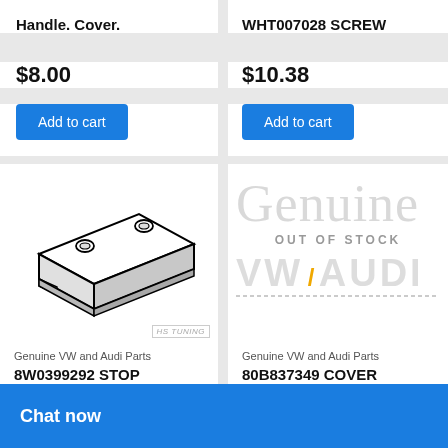Door
Handle. Cover.
$8.00
Add to cart
Genuine VW and Audi Parts
WHT007028 SCREW
$10.38
Add to cart
[Figure (illustration): Technical line drawing of a flat rectangular stop/slide part with two circular holes, shown in isometric view]
Genuine VW and Audi Parts
8W0399292 STOP
$18.00
[Figure (logo): Genuine VW/Audi watermark logo with OUT OF STOCK overlay text]
Genuine VW and Audi Parts
80B837349 COVER
$18.00
Chat now
Read more